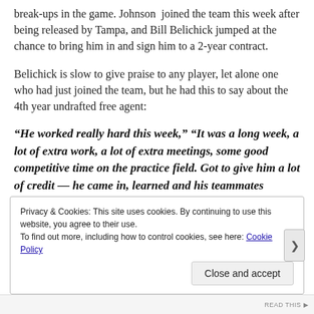break-ups in the game. Johnson joined the team this week after being released by Tampa, and Bill Belichick jumped at the chance to bring him in and sign him to a 2-year contract.
Belichick is slow to give praise to any player, let alone one who had just joined the team, but he had this to say about the 4th year undrafted free agent:
“He worked really hard this week,” “It was a long week, a lot of extra work, a lot of extra meetings, some good competitive time on the practice field. Got to give him a lot of credit — he came in, learned and his teammates embraced it … .”
Privacy & Cookies: This site uses cookies. By continuing to use this website, you agree to their use. To find out more, including how to control cookies, see here: Cookie Policy